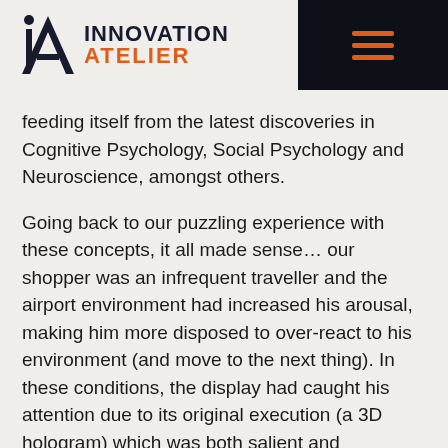INNOVATION ATELIER
feeding itself from the latest discoveries in Cognitive Psychology, Social Psychology and Neuroscience, amongst others.
Going back to our puzzling experience with these concepts, it all made sense… our shopper was an infrequent traveller and the airport environment had increased his arousal, making him more disposed to over-react to his environment (and move to the next thing). In these conditions, the display had caught his attention due to its original execution (a 3D hologram) which was both salient and unexpected. Yet, he could not fully process what he had seen because he was in a controlling mode with one clear objective in mind over-shadowing all the rest; he had to go find his gate.